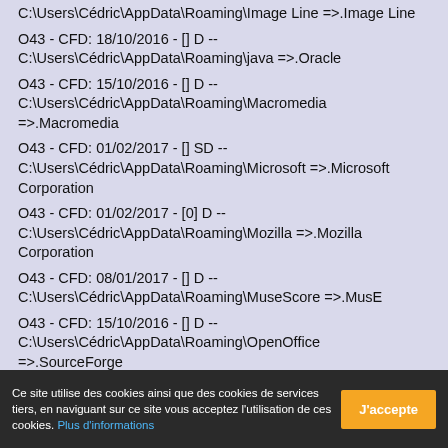O43 - CFD: 18/10/2016 - [] D -- C:\Users\Cédric\AppData\Roaming\java =>.Oracle
O43 - CFD: 15/10/2016 - [] D -- C:\Users\Cédric\AppData\Roaming\Macromedia =>.Macromedia
O43 - CFD: 01/02/2017 - [] SD -- C:\Users\Cédric\AppData\Roaming\Microsoft =>.Microsoft Corporation
O43 - CFD: 01/02/2017 - [0] D -- C:\Users\Cédric\AppData\Roaming\Mozilla =>.Mozilla Corporation
O43 - CFD: 08/01/2017 - [] D -- C:\Users\Cédric\AppData\Roaming\MuseScore =>.MusE
O43 - CFD: 15/10/2016 - [] D -- C:\Users\Cédric\AppData\Roaming\OpenOffice =>.SourceForge
O43 - CFD: 15/10/2016 - [] D -- C:\Users\Cédric\AppData\Roaming\PartyFrance
O43 - CFD: 23/10/2016 - [] D --
Ce site utilise des cookies ainsi que des cookies de services tiers, en naviguant sur ce site vous acceptez l'utilisation de ces cookies. Plus d'informations